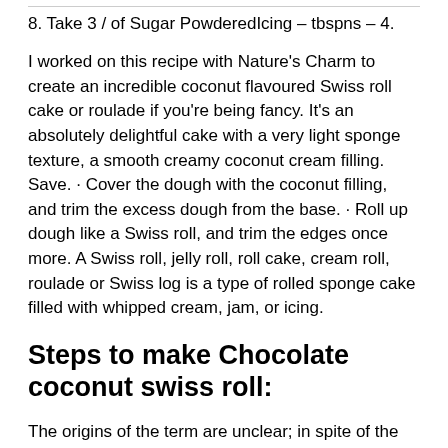8. Take 3 / of Sugar PowderedIcing – tbspns – 4.
I worked on this recipe with Nature's Charm to create an incredible coconut flavoured Swiss roll cake or roulade if you're being fancy. It's an absolutely delightful cake with a very light sponge texture, a smooth creamy coconut cream filling. Save. · Cover the dough with the coconut filling, and trim the excess dough from the base. · Roll up dough like a Swiss roll, and trim the edges once more. A Swiss roll, jelly roll, roll cake, cream roll, roulade or Swiss log is a type of rolled sponge cake filled with whipped cream, jam, or icing.
Steps to make Chocolate coconut swiss roll:
The origins of the term are unclear; in spite of the name "Swiss roll", the cake is believed to have originated elsewhere in Central Europe, possibly